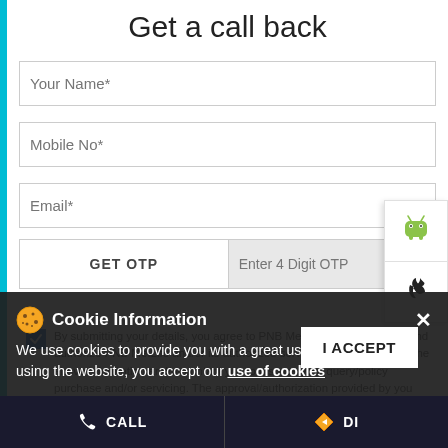Get a call back
[Figure (screenshot): Web form with input fields: Your Name*, Mobile No*, Email*, GET OTP button, Enter 4 Digit OTP field]
By submitting your details, you agree to PNB MetLife's Privacy Policy and authorize PNB MetLife and/or its authorized service providers to verify the above information and/or contact you to discuss your query/policy purchase and/or servicing. The approval/authorization provided by you herein will supersede all earlier authorization/consent provided by you.
Cookie Information
We use cookies to provide you with a great user experience. By using the website, you accept our use of cookies
CALL   DIRECTION